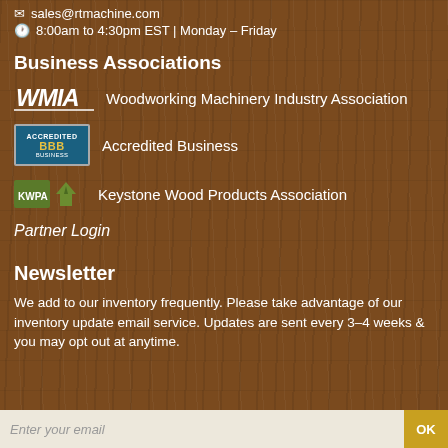📧 sales@rtmachine.com
🕐 8:00am to 4:30pm EST | Monday – Friday
Business Associations
WMIA – Woodworking Machinery Industry Association
Accredited Business
Keystone Wood Products Association
Partner Login
Newsletter
We add to our inventory frequently. Please take advantage of our inventory update email service. Updates are sent every 3–4 weeks & you may opt out at anytime.
Enter your email | OK